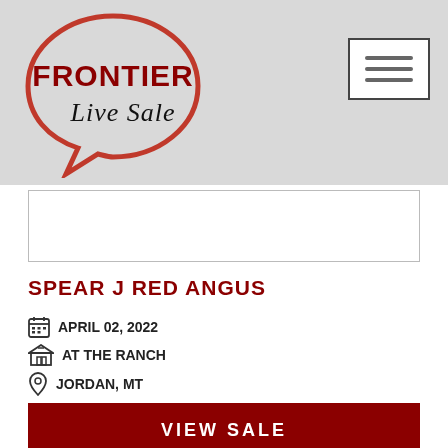[Figure (logo): Frontier Live Sale logo with red and black text and speech bubble shape]
SPEAR J RED ANGUS
APRIL 02, 2022
AT THE RANCH
JORDAN, MT
VIEW SALE
[Figure (logo): Mountain logo at the bottom of the page, partially visible]